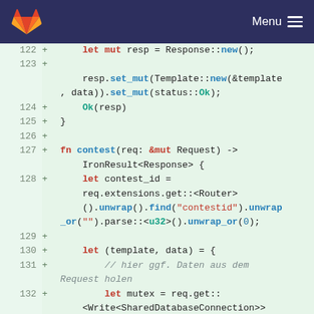GitLab Menu
[Figure (screenshot): Code diff view showing Rust source code lines 122-132 with additions marked by + signs on a light green background]